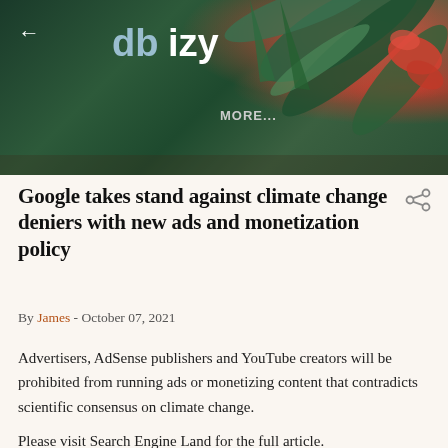[Figure (photo): Header banner with tropical leaves/plants background in dark green tones with red flower accents. Contains back arrow, 'dbizy' logo in white/blue, and 'MORE...' text.]
Google takes stand against climate change deniers with new ads and monetization policy
By James - October 07, 2021
Advertisers, AdSense publishers and YouTube creators will be prohibited from running ads or monetizing content that contradicts scientific consensus on climate change.
Please visit Search Engine Land for the full article.
Email this  Save to del.icio.us  Add to del.icio.us  Digg This!
Share on Facebook  Google Bookmark This